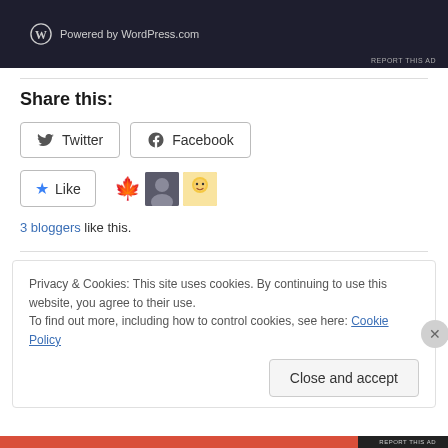[Figure (screenshot): Dark banner with WordPress.com logo and 'Powered by WordPress.com' text. 'REPORT THIS AD' link in bottom right.]
Share this:
[Figure (other): Twitter and Facebook share buttons]
[Figure (other): Like button with star icon, maple leaf emoji, and two blogger avatars]
3 bloggers like this.
Privacy & Cookies: This site uses cookies. By continuing to use this website, you agree to their use.
To find out more, including how to control cookies, see here: Cookie Policy
Close and accept